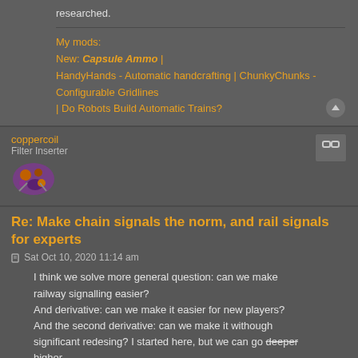researched.
My mods:
New: Capsule Ammo |
HandyHands - Automatic handcrafting | ChunkyChunks - Configurable Gridlines | Do Robots Build Automatic Trains?
coppercoil
Filter Inserter
Re: Make chain signals the norm, and rail signals for experts
Sat Oct 10, 2020 11:14 am
I think we solve more general question: can we make railway signalling easier?
And derivative: can we make it easier for new players?
And the second derivative: can we make it withough significant redesing? I started here, but we can go deeper higher.

How about some third king of signal, kind of "signal for dummies"? It would have limitations/incompatibilities to force...